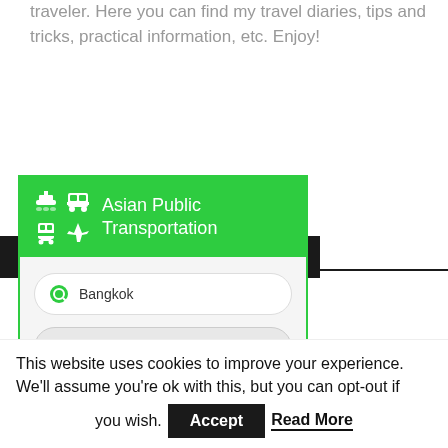traveler. Here you can find my travel diaries, tips and tricks, practical information, etc. Enjoy!
FIND THE BEST BUSES IN ASIA
[Figure (screenshot): Asian Public Transportation widget showing a booking interface with icons (boat, bus, train, airplane) and two location fields: Bangkok and Chiang Mai]
This website uses cookies to improve your experience. We'll assume you're ok with this, but you can opt-out if you wish. Accept Read More